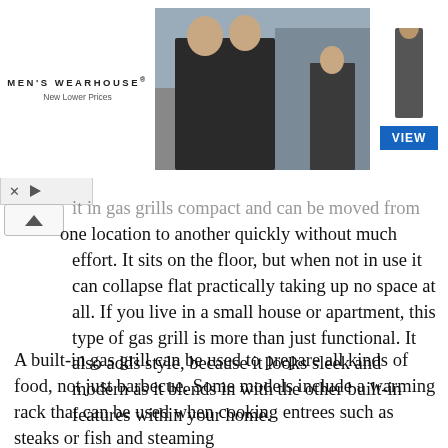[Figure (photo): Men's Wearhouse advertisement banner showing a couple in formal wedding attire and a child in a suit, with a blue 'VIEW' button on the right side.]
...in gas grills compact and can be moved from one location to another quickly without much effort. It sits on the floor, but when not in use it can collapse flat practically taking up no space at all. If you live in a small house or apartment, this type of gas grill is more than just functional. It also adds style, because it looks sleek and modern as it blends in with the other built-in features within your home.
A built-in gas grill can be used to prepare all kinds of food, not just barbecue. Some models include a warming rack that can be used when cooking entrees such as steaks or fish and steaming